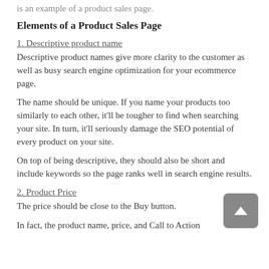is an example of a product sales page.
Elements of a Product Sales Page
1. Descriptive product name
Descriptive product names give more clarity to the customer as well as busy search engine optimization for your ecommerce page.
The name should be unique. If you name your products too similarly to each other, it'll be tougher to find when searching your site. In turn, it'll seriously damage the SEO potential of every product on your site.
On top of being descriptive, they should also be short and include keywords so the page ranks well in search engine results.
2. Product Price
The price should be close to the Buy button.
In fact, the product name, price, and Call to Action